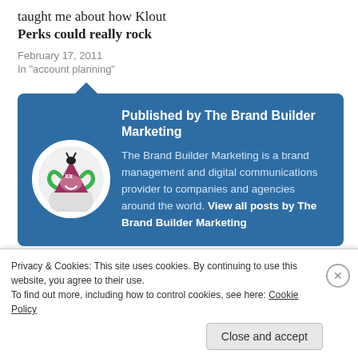taught me about how Klout Perks could really rock
February 17, 2011
In "account planning"
[Figure (illustration): Blue card panel with avatar logo circle for The Brand Builder Marketing. Avatar shows a stylized cartoon character with a pink/maroon triangle-shaped face, green tendrils, and XX eyes on a white background.]
Published by The Brand Builder Marketing
The Brand Builder Marketing is a brand management and digital communications provider to companies and agencies around the world. View all posts by The Brand Builder Marketing
Privacy & Cookies: This site uses cookies. By continuing to use this website, you agree to their use.
To find out more, including how to control cookies, see here: Cookie Policy
Close and accept